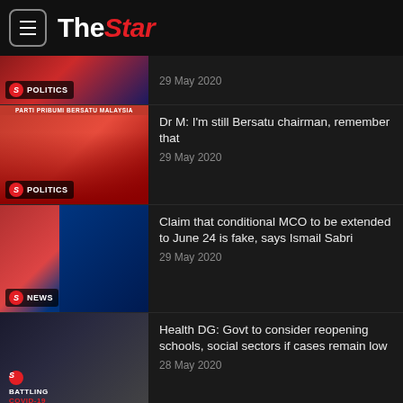The Star
29 May 2020
Dr M: I'm still Bersatu chairman, remember that
29 May 2020
Claim that conditional MCO to be extended to June 24 is fake, says Ismail Sabri
29 May 2020
Health DG: Govt to consider reopening schools, social sectors if cases remain low
28 May 2020
Eid during Covid-19 pandemic, the Malaysian story
24 May 2020